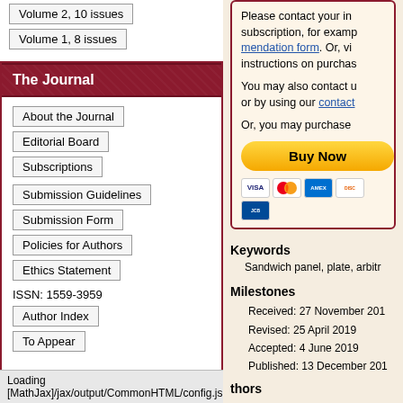Volume 2, 10 issues
Volume 1, 8 issues
The Journal
About the Journal
Editorial Board
Subscriptions
Submission Guidelines
Submission Form
Policies for Authors
Ethics Statement
ISSN: 1559-3959
Author Index
To Appear
Other MSP Journals
Please contact your institution to get a subscription, for example using our recommendation form. Or, visit instructions on purchasing a subscription.
You may also contact us at this address or by using our contact form.
Or, you may purchase this article:
[Figure (infographic): Buy Now button with PayPal styling and payment card icons (Visa, Mastercard, American Express, Discover)]
Keywords
Sandwich panel, plate, arbitr
Milestones
Received: 27 November 201
Revised: 25 April 2019
Accepted: 4 June 2019
Published: 13 December 201
thors
Loading [MathJax]/jax/output/CommonHTML/config.js